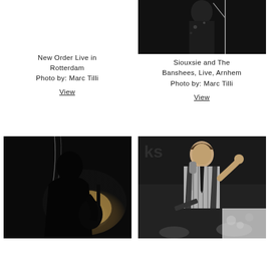[Figure (photo): Black and white live concert photo - New Order Live in Rotterdam, silhouette of musician at microphone with bright stage light]
New Order Live in Rotterdam
Photo by: Marc Tilli
View
[Figure (photo): Black and white live concert photo - Siouxsie and The Banshees, Live, Arnhem, female performer in dark outfit at microphone stand]
Siouxsie and The Banshees, Live, Arnhem
Photo by: Marc Tilli
View
[Figure (photo): Black and white concert photo - silhouette of guitarist/performer with microphone against bright backlight on stage]
[Figure (photo): Black and white concert photo - male singer holding microphone, wearing striped shirt and vest, performing on stage]